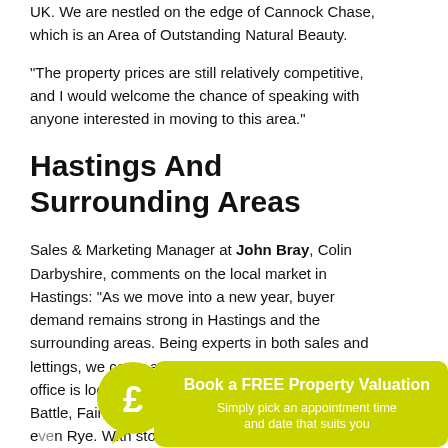UK. We are nestled on the edge of Cannock Chase, which is an Area of Outstanding Natural Beauty.
“The property prices are still relatively competitive, and I would welcome the chance of speaking with anyone interested in moving to this area."
Hastings And Surrounding Areas
Sales & Marketing Manager at John Bray, Colin Darbyshire, comments on the local market in Hastings: "As we move into a new year, buyer demand remains strong in Hastings and the surrounding areas. Being experts in both sales and lettings, we cover areas such as Hastings, where our office is located, through to St Leonards, Bexhill, Battle, Fairlight, Westfield Village, Sedlescombe and even Rye. With stock levels still relatively low, it remains a seller’s market and the likelihood is that house prices will remain high through... new sales, are back o... Christmas and into a...
[Figure (infographic): A circular green/yellow pound sign icon with a speech bubble shape, overlapping a green CTA box reading 'Book a FREE Property Valuation - Simply pick an appointment time and date that suits you']